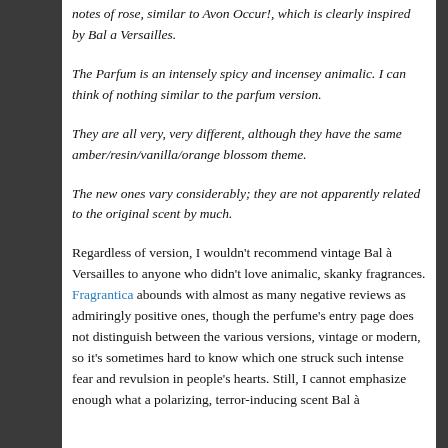notes of rose, similar to Avon Occur!, which is clearly inspired by Bal a Versailles.
The Parfum is an intensely spicy and incensey animalic. I can think of nothing similar to the parfum version.
They are all very, very different, although they have the same amber/resin/vanilla/orange blossom theme.
The new ones vary considerably; they are not apparently related to the original scent by much.
Regardless of version, I wouldn't recommend vintage Bal à Versailles to anyone who didn't love animalic, skanky fragrances. Fragrantica abounds with almost as many negative reviews as admiringly positive ones, though the perfume's entry page does not distinguish between the various versions, vintage or modern, so it's sometimes hard to know which one struck such intense fear and revulsion in people's hearts. Still, I cannot emphasize enough what a polarizing, terror-inducing scent Bal à